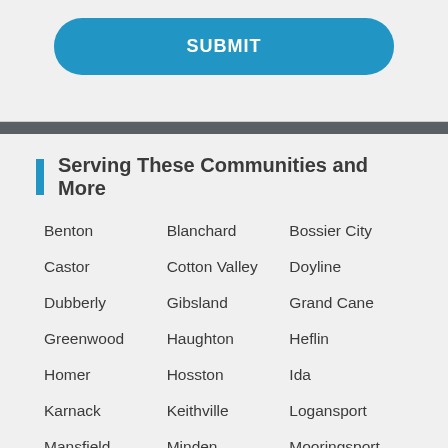[Figure (other): Blue rounded rectangle SUBMIT button]
Serving These Communities and More
Benton
Blanchard
Bossier City
Castor
Cotton Valley
Doyline
Dubberly
Gibsland
Grand Cane
Greenwood
Haughton
Heflin
Homer
Hosston
Ida
Karnack
Keithville
Logansport
Mansfield
Minden
Mooringsport